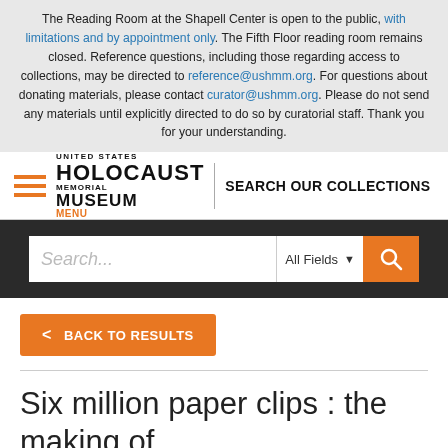The Reading Room at the Shapell Center is open to the public, with limitations and by appointment only. The Fifth Floor reading room remains closed. Reference questions, including those regarding access to collections, may be directed to reference@ushmm.org. For questions about donating materials, please contact curator@ushmm.org. Please do not send any materials until explicitly directed to do so by curatorial staff. Thank you for your understanding.
[Figure (logo): United States Holocaust Memorial Museum logo with hamburger menu and SEARCH OUR COLLECTIONS text]
[Figure (screenshot): Search bar with placeholder 'Search...', All Fields dropdown, and orange search button]
< BACK TO RESULTS
Six million paper clips : the making of